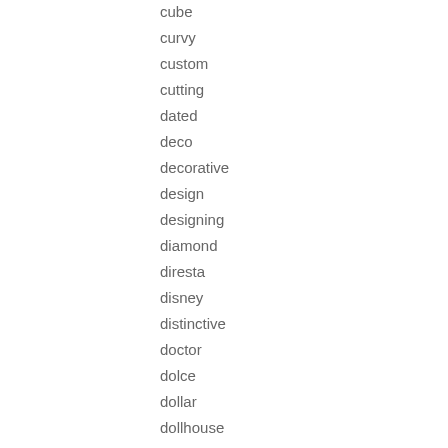cube
curvy
custom
cutting
dated
deco
decorative
design
designing
diamond
diresta
disney
distinctive
doctor
dolce
dollar
dollhouse
dolphin